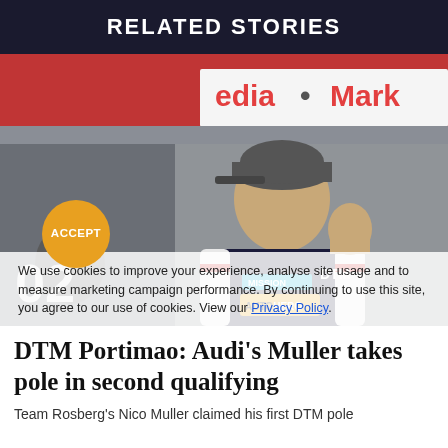RELATED STORIES
[Figure (photo): Racing driver in DTM/Audi race suit with AUTOHERO branding, wearing a grey cap, celebrating with raised fist. Number '02' visible at lower left. Media Markt signage in background. Cookie consent overlay partially covers the lower portion of the image.]
We use cookies to improve your experience, analyse site usage and to measure marketing campaign performance. By continuing to use this site, you agree to our use of cookies. View our Privacy Policy.
DTM Portimao: Audi's Muller takes pole in second qualifying
Team Rosberg's Nico Muller claimed his first DTM pole